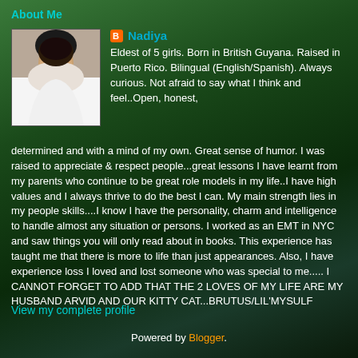About Me
Nadiya
Eldest of 5 girls. Born in British Guyana. Raised in Puerto Rico. Bilingual (English/Spanish). Always curious. Not afraid to say what I think and feel..Open, honest, determined and with a mind of my own. Great sense of humor. I was raised to appreciate & respect people...great lessons I have learnt from my parents who continue to be great role models in my life..I have high values and I always thrive to do the best I can. My main strength lies in my people skills....I know I have the personality, charm and intelligence to handle almost any situation or persons. I worked as an EMT in NYC and saw things you will only read about in books. This experience has taught me that there is more to life than just appearances. Also, I have experience loss I loved and lost someone who was special to me..... I CANNOT FORGET TO ADD THAT THE 2 LOVES OF MY LIFE ARE MY HUSBAND ARVID AND OUR KITTY CAT...BRUTUS/LIL'MYSULF
View my complete profile
Powered by Blogger.